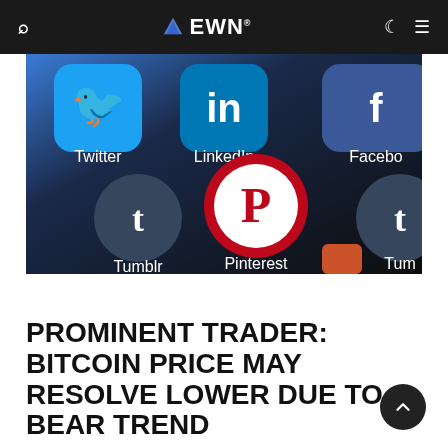EWN
[Figure (photo): Close-up photo of a smartphone screen showing social media app icons including Twitter, LinkedIn, Facebook, Tumblr, Pinterest, and Tumblr on a dark background.]
PROMINENT TRADER: BITCOIN PRICE MAY RESOLVE LOWER DUE TO BEAR TREND